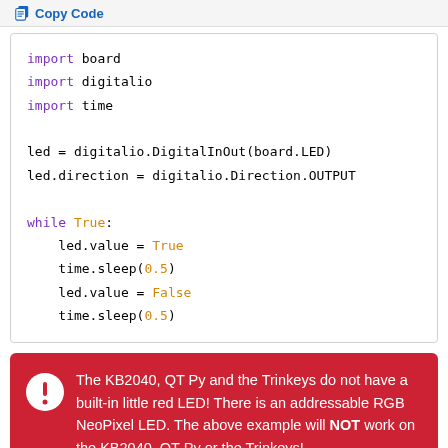Copy Code
[Figure (screenshot): Python code block showing LED blink program using CircuitPython: imports board, digitalio, time; sets up DigitalInOut on board.LED as OUTPUT; loops while True blinking LED with 0.5 second sleep intervals]
The KB2040, QT Py and the Trinkeys do not have a built-in little red LED! There is an addressable RGB NeoPixel LED. The above example will NOT work on the KB2040, QT Py or the Trinkeys!